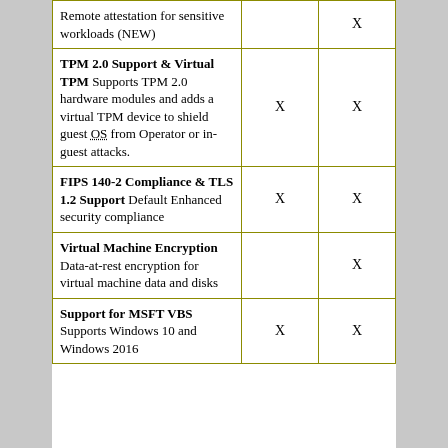| Feature | Col1 | Col2 |
| --- | --- | --- |
| Remote attestation for sensitive workloads (NEW) |  | X |
| TPM 2.0 Support & Virtual TPM Supports TPM 2.0 hardware modules and adds a virtual TPM device to shield guest OS from Operator or in-guest attacks. | X | X |
| FIPS 140-2 Compliance & TLS 1.2 Support Default Enhanced security compliance | X | X |
| Virtual Machine Encryption Data-at-rest encryption for virtual machine data and disks |  | X |
| Support for MSFT VBS Supports Windows 10 and Windows 2016 | X | X |